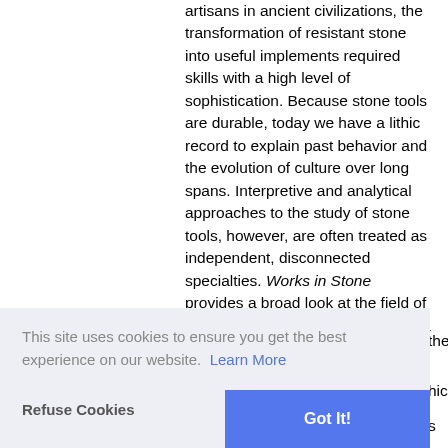artisans in ancient civilizations, the transformation of resistant stone into useful implements required skills with a high level of sophistication. Because stone tools are durable, today we have a lithic record to explain past behavior and the evolution of culture over long spans. Interpretive and analytical approaches to the study of stone tools, however, are often treated as independent, disconnected specialties. Works in Stone provides a broad look at the field of lithic analysis by bringing together a cross section of recent research. Scholars present a diverse range of concepts and methods with
This site uses cookies to ensure you get the best experience on our website. Learn More
Refuse Cookies
Got It!